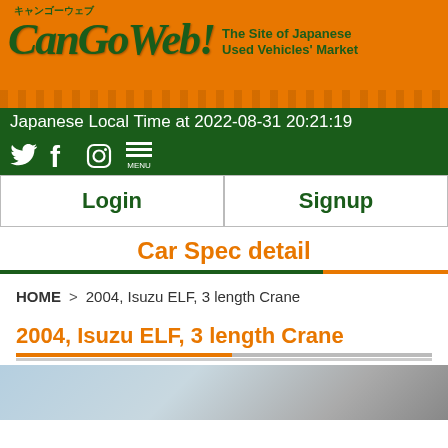[Figure (logo): CanGoWeb! website header banner with orange brush background, logo text 'CanGoWeb!' in dark green italic, tagline 'The Site of Japanese Used Vehicles' Market', social media icons on dark green background, and datetime text.]
Japanese Local Time at 2022-08-31 20:21:19
Login   Signup
Car Spec detail
HOME > 2004, Isuzu ELF, 3 length Crane
2004, Isuzu ELF, 3 length Crane
[Figure (photo): Partial photo of a crane truck vehicle at the bottom of the page]